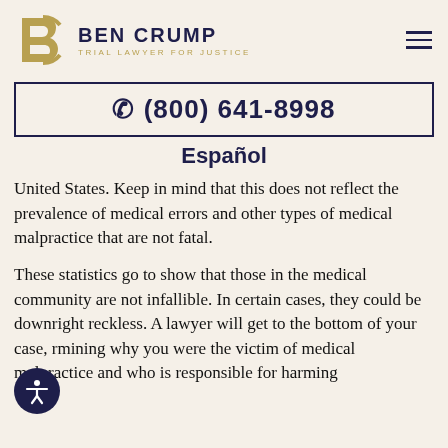BEN CRUMP — TRIAL LAWYER FOR JUSTICE
☎ (800) 641-8998
Español
United States. Keep in mind that this does not reflect the prevalence of medical errors and other types of medical malpractice that are not fatal.
These statistics go to show that those in the medical community are not infallible. In certain cases, they could be downright reckless. A lawyer will get to the bottom of your case, determining why you were the victim of medical malpractice and who is responsible for harming